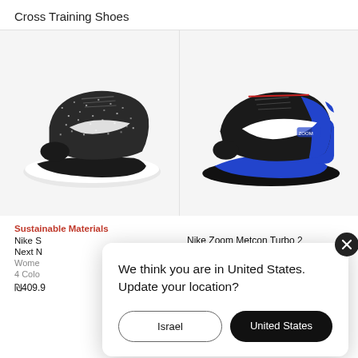Cross Training Shoes
[Figure (photo): Two Nike cross training shoes displayed side by side. Left: Nike SuperRep Go Next Nature black and white speckled shoe with white sole. Right: Nike Zoom Metcon Turbo 2 black and blue training shoe.]
Sustainable Materials
Nike S Next N Wome 4 Colo ₪409.9
Nike Zoom Metcon Turbo 2
We think you are in United States. Update your location?
Israel
United States